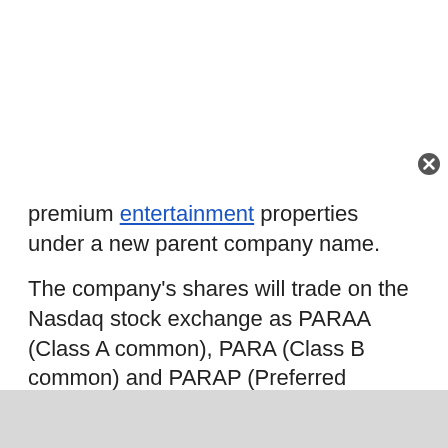premium entertainment properties under a new parent company name.
The company's shares will trade on the Nasdaq stock exchange as PARAA (Class A common), PARA (Class B common) and PARAP (Preferred Stock), beginning with trading on Thursday.
The company announced that starting with 2024